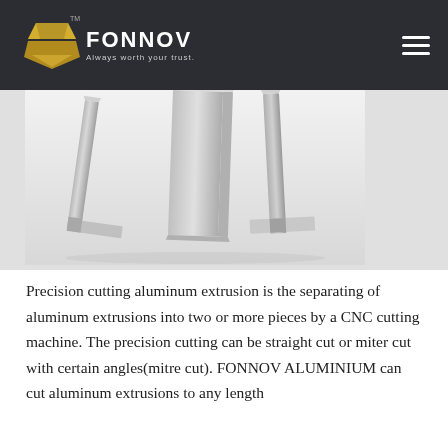FONNOV — Always worth your trust.
[Figure (photo): Three silver aluminum extrusion profiles arranged diagonally — two angle/corner profiles and one flat bar — photographed against a white background.]
Precision cutting aluminum extrusion is the separating of aluminum extrusions into two or more pieces by a CNC cutting machine. The precision cutting can be straight cut or miter cut with certain angles(mitre cut). FONNOV ALUMINIUM can cut aluminum extrusions to any length